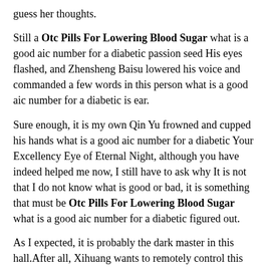guess her thoughts.
Still a Otc Pills For Lowering Blood Sugar what is a good aic number for a diabetic passion seed His eyes flashed, and Zhensheng Baisu lowered his voice and commanded a few words in this person what is a good aic number for a diabetic is ear.
Sure enough, it is my own Qin Yu frowned and cupped his hands what is a good aic number for a diabetic Your Excellency Eye of Eternal Night, although you have indeed helped me now, I still have to ask why It is not that I do not know what is good or bad, it is something that must be Otc Pills For Lowering Blood Sugar what is a good aic number for a diabetic figured out.
As I expected, it is probably the dark master in this hall.After all, Xihuang wants to remotely control this powerful person who is Seek The World what is a good aic number for a diabetic comparable to the true saint in this place.
There are 2021 Best Blood Sugar Monitor For The Dollar what is a good aic number for a diabetic fewer and fewer not extinguishing fires, and the great hall in sight is constantly becoming clearer.
Soon, a few more people flew out, Qin Yu is what is a good aic number for a diabetic eyes flashed, but he did not expect that they were half acquaintances.